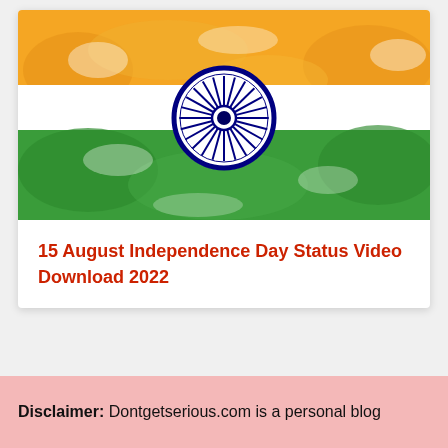[Figure (illustration): Indian Independence Day themed banner with saffron orange at top, white in middle with Ashoka Chakra (blue wheel) centered, and green at bottom — stylized watercolor flag design]
15 August Independence Day Status Video Download 2022
Disclaimer: Dontgetserious.com is a personal blog